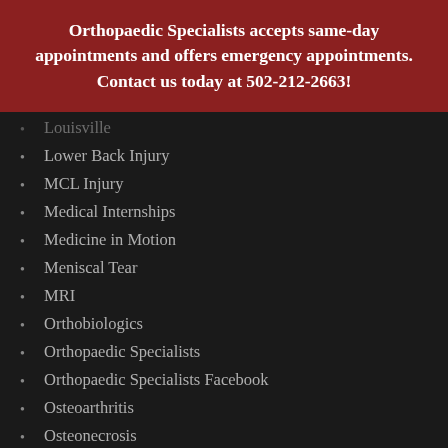Orthopaedic Specialists accepts same-day appointments and offers emergency appointments. Contact us today at 502-212-2663!
Louisville
Lower Back Injury
MCL Injury
Medical Internships
Medicine in Motion
Meniscal Tear
MRI
Orthobiologics
Orthopaedic Specialists
Orthopaedic Specialists Facebook
Osteoarthritis
Osteonecrosis
Osteoporosis
Outdoor Sports
Overuse Injury
Patellar Instability